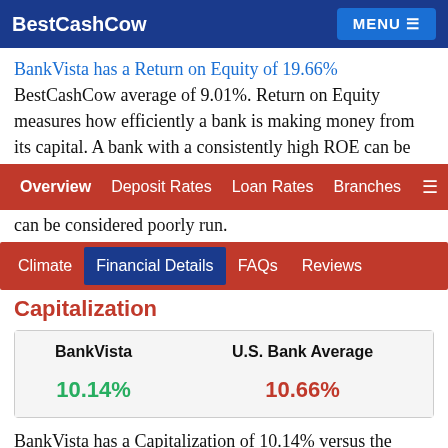BestCashCow | MENU
BankVista has a Return on Equity of 19.66%... BestCashCow average of 9.01%. Return on Equity measures how efficiently a bank is making money from its capital. A bank with a consistently high ROE can be
can be considered poorly run.
Capitalization
| BankVista | U.S. Bank Average |
| --- | --- |
| 10.14% | 10.66% |
BankVista has a Capitalization of 10.14% versus the BestCashCow average of 10.66. Capitalization measures how much equity capital a bank has to underpin loans and other assets on its balance sheet. The higher the capitalization number the more secure a bank is considered.